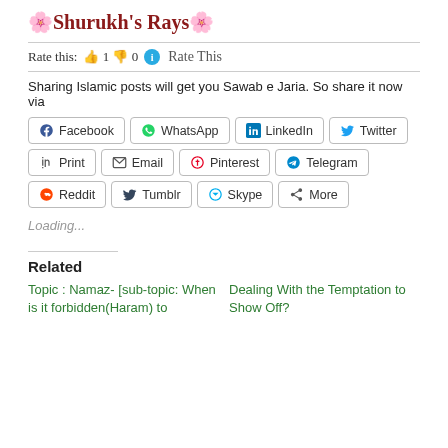🌸 Shurukh's Rays 🌸
Rate this: 👍 1 👎 0 ℹ Rate This
Sharing Islamic posts will get you Sawab e Jaria. So share it now via
Facebook | WhatsApp | LinkedIn | Twitter | Print | Email | Pinterest | Telegram | Reddit | Tumblr | Skype | More
Loading...
Related
Topic : Namaz- [sub-topic: When is it forbidden(Haram) to
Dealing With the Temptation to Show Off?